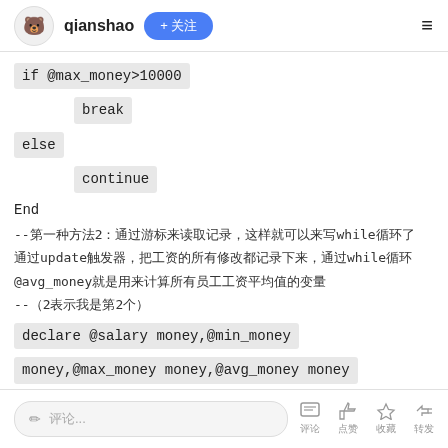qianshao + 关注
if @max_money>10000
break
else
continue
End
--第二种方法2：通过游标来读取记录，这样就可以来写while循环了
通过update触发器，把工资的所有修改都记录下来，通过while循环
@avg_money就是用来计算所有员工工资平均值的变量
--（2表示我是第2个）
declare @salary money,@min_money money,@max_money money,@avg_money money
✏ 评论...  评论  点赞  收藏  转发